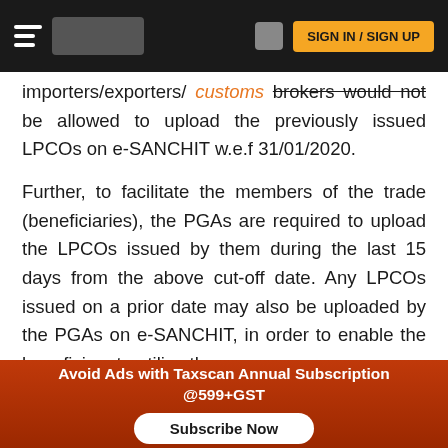SIGN IN / SIGN UP
importers/exporters/customs brokers would not be allowed to upload the previously issued LPCOs on e-SANCHIT w.e.f 31/01/2020.
Further, to facilitate the members of the trade (beneficiaries), the PGAs are required to upload the LPCOs issued by them during the last 15 days from the above cut-off date. Any LPCOs issued on a prior date may also be uploaded by the PGAs on e-SANCHIT, in order to enable the beneficiary to utilize the same.
Avoid Ads with Taxscan Annual Subscription @599+GST
Subscribe Now